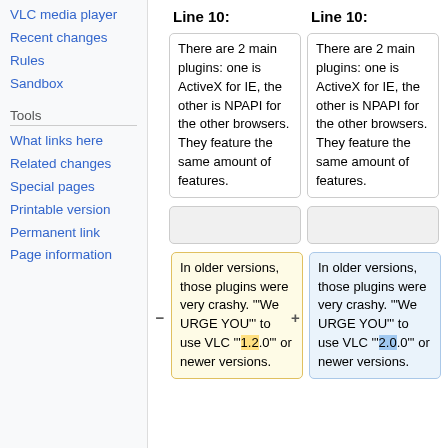VLC media player
Recent changes
Rules
Sandbox
Tools
What links here
Related changes
Special pages
Printable version
Permanent link
Page information
Line 10:
Line 10:
There are 2 main plugins: one is ActiveX for IE, the other is NPAPI for the other browsers. They feature the same amount of features.
There are 2 main plugins: one is ActiveX for IE, the other is NPAPI for the other browsers. They feature the same amount of features.
In older versions, those plugins were very crashy. '"We URGE YOU"' to use VLC '"1.2.0"' or newer versions.
In older versions, those plugins were very crashy. '"We URGE YOU"' to use VLC '"2.0.0"' or newer versions.